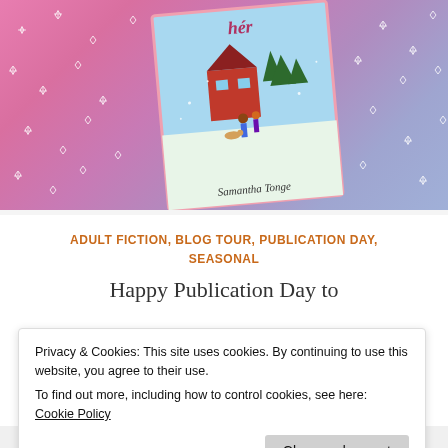[Figure (illustration): Book cover for a winter/Christmas romance novel by Samantha Tonge, showing a couple walking a dog in the snow with a red barn and pine trees, set against a pink/purple glittery background with sparkle effects.]
ADULT FICTION, BLOG TOUR, PUBLICATION DAY, SEASONAL
Happy Publication Day to
Privacy & Cookies: This site uses cookies. By continuing to use this website, you agree to their use.
To find out more, including how to control cookies, see here: Cookie Policy
Close and accept
Posted on 03/10/2020